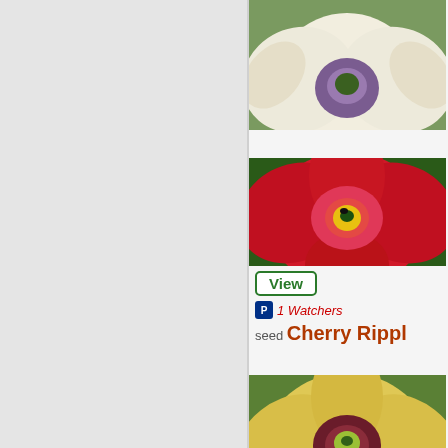[Figure (photo): Daylily flower - cream/pink with purple center at top, partially cropped]
[Figure (photo): Daylily flower - bright red/pink with yellow center]
[Figure (photo): Daylily flower - yellow with dark burgundy eye pattern]
View | 1 Watchers | seed Cherry Rippl
[Figure (photo): Daylily flower - cream/white with purple-mauve eye]
[Figure (photo): Daylily flower - rust/copper brown with yellow center]
View | 2 Watchers | seed Decoupage x
[Figure (photo): Daylily flower - partially visible at bottom]